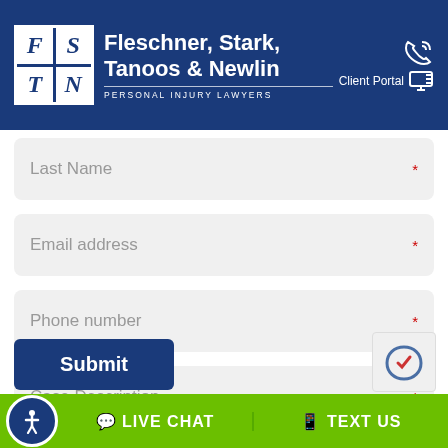[Figure (logo): Fleschner, Stark, Tanoos & Newlin Personal Injury Lawyers logo with FSTN initials in grid]
Fleschner, Stark, Tanoos & Newlin PERSONAL INJURY LAWYERS
Client Portal
Last Name *
Email address *
Phone number *
Case Description *
Submit
LIVE CHAT
TEXT US